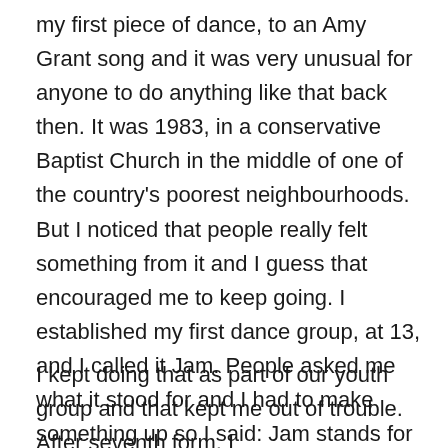my first piece of dance, to an Amy Grant song and it was very unusual for anyone to do anything like that back then. It was 1983, in a conservative Baptist Church in the middle of one of the country's poorest neighbourhoods. But I noticed that people really felt something from it and I guess that encouraged me to keep going. I established my first dance group, at 13, and I called it Jam. People asked me what it stood for and I had to make something up so I said: Jam stands for Jesus and Me.
I kept doing that as part of our youth group and that kept me out of trouble. After seventh form, I